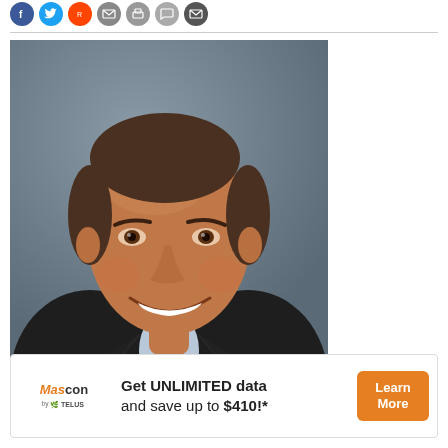[Figure (other): Row of social media sharing icon buttons: Facebook (blue), Twitter (blue), Reddit (orange-red), email/print (grey), print (grey), comment (grey), mail (dark grey) — all circular icons]
[Figure (photo): Professional headshot portrait of a middle-aged man with short brown hair, smiling broadly, wearing a dark suit jacket and light blue dress shirt, photographed against a grey background]
[Figure (other): Advertisement banner for Mascon by TELUS: 'Get UNLIMITED data and save up to $410!*' with a Learn More button in orange]